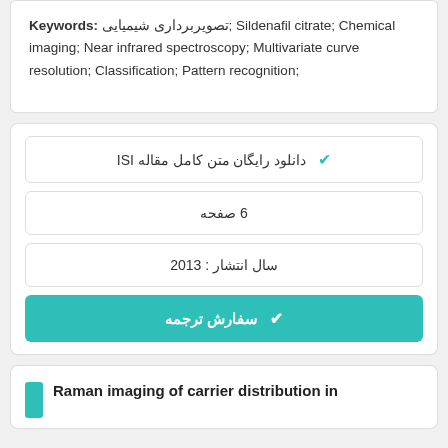Keywords: تصویربرداری شیمیایی; Sildenafil citrate; Chemical imaging; Near infrared spectroscopy; Multivariate curve resolution; Classification; Pattern recognition;
✓ دانلود رایگان متن کامل مقاله ISI
6 صفحه
سال انتشار : 2013
✓ سفارش ترجمه
Raman imaging of carrier distribution in